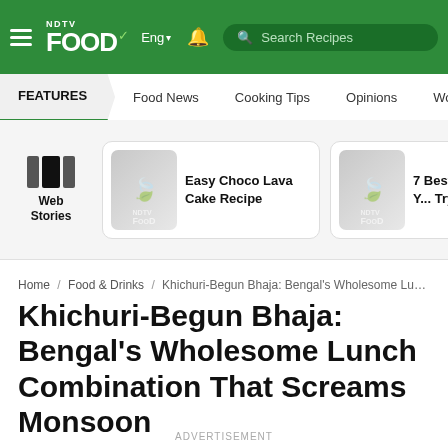NDTV Food Eng — Search Recipes
FEATURES | Food News | Cooking Tips | Opinions | World Cuisine
[Figure (other): Web Stories section with two story cards: 'Easy Choco Lava Cake Recipe' and '7 Best Pu... Recipes Y... Try']
Home / Food & Drinks / Khichuri-Begun Bhaja: Bengal's Wholesome Lunc...
Khichuri-Begun Bhaja: Bengal's Wholesome Lunch Combination That Screams Monsoon
ADVERTISEMENT